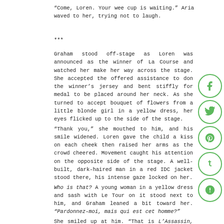“Come, Loren. Your wee cup is waiting.” Aria waved to her, trying not to laugh.
***
Graham stood off-stage as Loren was announced as the winner of La Course and watched her make her way across the stage. She accepted the offered assistance to don the winner’s jersey and bent stiffly for medal to be placed around her neck. As she turned to accept bouquet of flowers from a little blonde girl in a yellow dress, her eyes flicked up to the side of the stage.
“Thank you,” she mouthed to him, and his smile widened. Loren gave the child a kiss on each cheek then raised her arms as the crowd cheered. Movement caught his attention on the opposite side of the stage. A well-built, dark-haired man in a red IDC jacket stood there, his intense gaze locked on her.
Who is that? A young woman in a yellow dress and sash with Le Tour on it stood next to him, and Graham leaned a bit toward her. “Pardonnez-moi, mais qui est cet homme?”
She smiled up at him. “That is L’Assassin, Felix Lalonde.” When Graham looked back, Felix was no longer watching Loren. His hate-filled glare was firmly fixed on him.
And so the next chapter begins. He shook his stomach-clenching dread away.